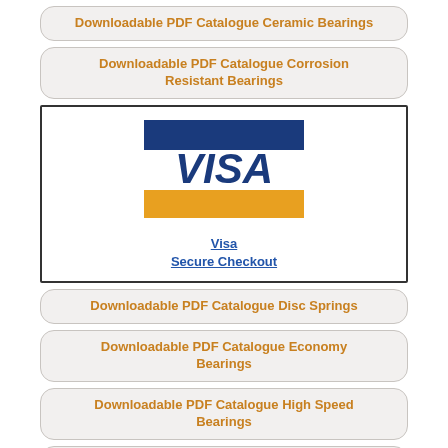Downloadable PDF Catalogue Ceramic Bearings
Downloadable PDF Catalogue Corrosion Resistant Bearings
[Figure (logo): Visa card logo with blue and gold stripes, labeled Visa Secure Checkout]
Downloadable PDF Catalogue Disc Springs
Downloadable PDF Catalogue Economy Bearings
Downloadable PDF Catalogue High Speed Bearings
Downloadable PDF Catalogue Metallic Bushes
Downloadable PDF Catalogue Plastic Bearings